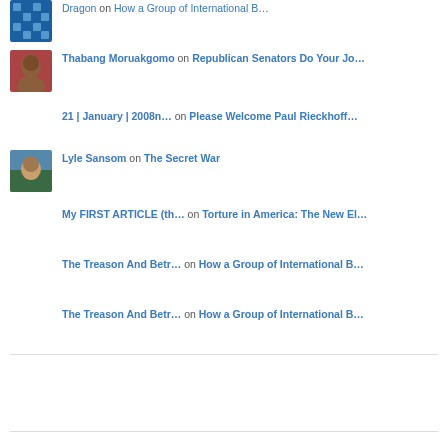Dragon on How a Group of International B…
[Figure (photo): Blue decorative avatar with geometric pattern]
Thabang Moruakgomo on Republican Senators Do Your Jo…
[Figure (photo): Profile photo of a man in a red shirt]
21 | January | 2008n… on Please Welcome Paul Rieckhoff…
[Figure (photo): Profile photo of a person outdoors]
Lyle Sansom on The Secret War
My FIRST ARTICLE (th… on Torture in America: The New El…
The Treason And Betr… on How a Group of International B…
The Treason And Betr… on How a Group of International B…